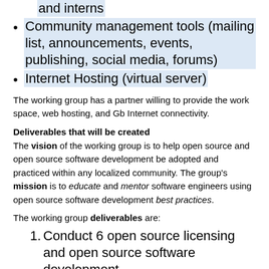and interns
Community management tools (mailing list, announcements, events, publishing, social media, forums)
Internet Hosting (virtual server)
The working group has a partner willing to provide the work space, web hosting, and Gb Internet connectivity.
Deliverables that will be created
The vision of the working group is to help open source and open source software development be adopted and practiced within any localized community. The group's mission is to educate and mentor software engineers using open source software development best practices.
The working group deliverables are:
Conduct 6 open source licensing and open source software development